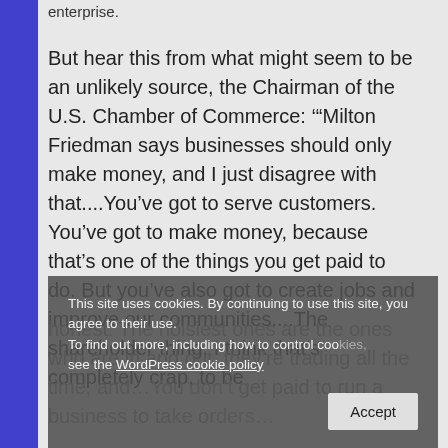enterprise.
But hear this from what might seem to be an unlikely source, the Chairman of the U.S. Chamber of Commerce: ‘“Milton Friedman says businesses should only make money, and I just disagree with that....You’ve got to serve customers. You’ve got to make money, because that’s one of the things you get paid to do. But you’ve also got to create jobs and improve our communities....The shareholder thing, I think that’s completely crap, to be honest. The noisiest ones are the ones who are in and out, they’re trading all the time, and…You don’t get paid to run a business to take orders… you get paid to run a company!’”
This site uses cookies. By continuing to use this site, you agree to their use.
To find out more, including how to control cookies, see the WordPress cookie policy